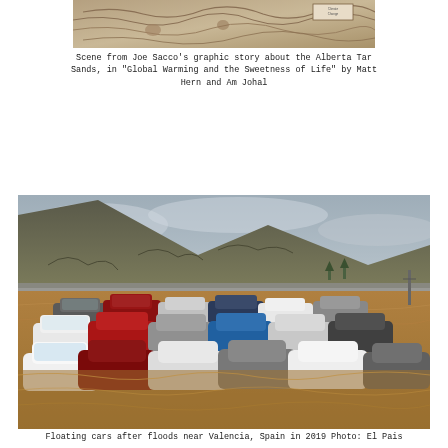[Figure (illustration): Scene from Joe Sacco's graphic story about the Alberta Tar Sands — a black and white illustration with swirling industrial landscape imagery]
Scene from Joe Sacco's graphic story about the Alberta Tar Sands, in "Global Warming and the Sweetness of Life" by Matt Hern and Am Johal
[Figure (photo): Photograph of numerous cars floating and submerged in floodwaters near Valencia, Spain in 2019. A hillside with scrub vegetation and overcast sky visible in the background.]
Floating cars after floods near Valencia, Spain in 2019 Photo: El Pais